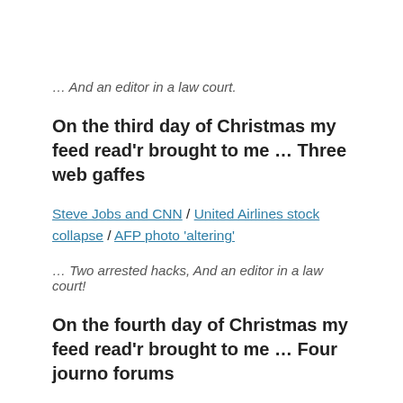… And an editor in a law court.
On the third day of Christmas my feed read'r brought to me … Three web gaffes
Steve Jobs and CNN / United Airlines stock collapse / AFP photo 'altering'
… Two arrested hacks, And an editor in a law court!
On the fourth day of Christmas my feed read'r brought to me … Four journo forums
Wired Journalists / Journalism Research / Visual Editors / Journalism.co.uk forum